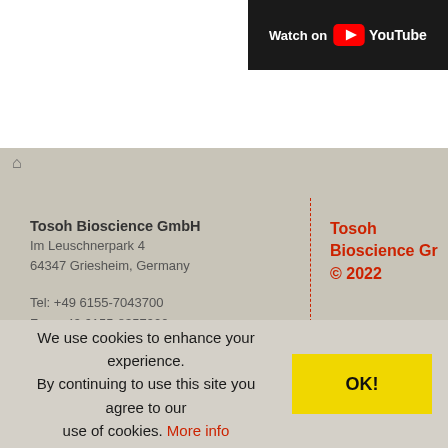[Figure (screenshot): YouTube video thumbnail with 'Watch on YouTube' button in top right corner]
Tosoh Bioscience GmbH
Im Leuschnerpark 4
64347 Griesheim, Germany

Tel: +49 6155-7043700
Fax: +49 6155-8357900

INFO.TBG@TOSOH.COM »
Tosoh Bioscience Gr
© 2022
Literature
Applications
About T
Locati
Contac
Career
We use cookies to enhance your experience. By continuing to use this site you agree to our use of cookies. More info